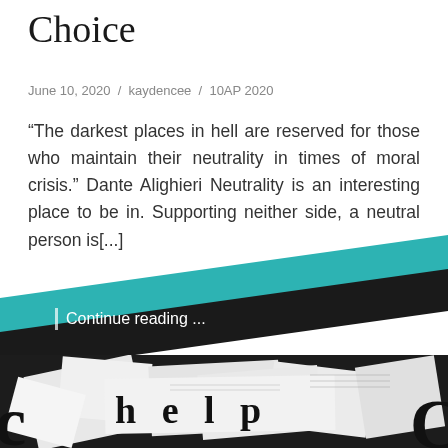Choice
June 10, 2020 / kaydencee / 10AP 2020
“The darkest places in hell are reserved for those who maintain their neutrality in times of moral crisis.” Dante Alighieri Neutrality is an interesting place to be in. Supporting neither side, a neutral person is[...]
Continue reading ...
[Figure (photo): Black and white photo of scattered papers with large bold letters spelling 'h e l p' prominently visible on a paper in the center]